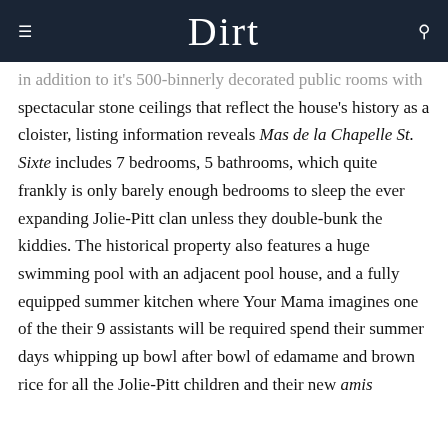Dirt
in addition to it's 500-binnerly decorated public rooms with spectacular stone ceilings that reflect the house's history as a cloister, listing information reveals Mas de la Chapelle St. Sixte includes 7 bedrooms, 5 bathrooms, which quite frankly is only barely enough bedrooms to sleep the ever expanding Jolie-Pitt clan unless they double-bunk the kiddies. The historical property also features a huge swimming pool with an adjacent pool house, and a fully equipped summer kitchen where Your Mama imagines one of the their 9 assistants will be required spend their summer days whipping up bowl after bowl of edamame and brown rice for all the Jolie-Pitt children and their new amis